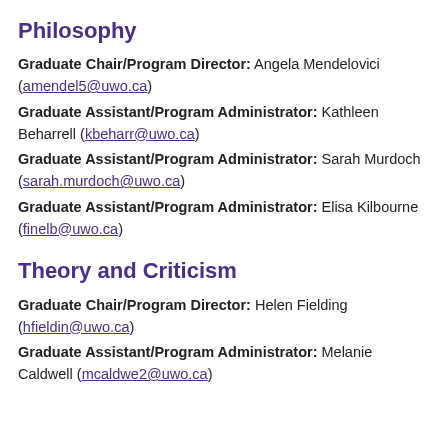Philosophy
Graduate Chair/Program Director: Angela Mendelovici (amendel5@uwo.ca)
Graduate Assistant/Program Administrator: Kathleen Beharrell (kbeharr@uwo.ca)
Graduate Assistant/Program Administrator: Sarah Murdoch (sarah.murdoch@uwo.ca)
Graduate Assistant/Program Administrator: Elisa Kilbourne (finelb@uwo.ca)
Theory and Criticism
Graduate Chair/Program Director: Helen Fielding (hfieldin@uwo.ca)
Graduate Assistant/Program Administrator: Melanie Caldwell (mcaldwe2@uwo.ca)